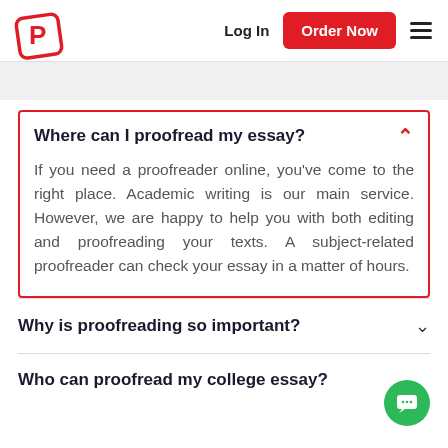Log In | Order Now | [menu]
Where can I proofread my essay?
If you need a proofreader online, you've come to the right place. Academic writing is our main service. However, we are happy to help you with both editing and proofreading your texts. A subject-related proofreader can check your essay in a matter of hours.
Why is proofreading so important?
Who can proofread my college essay?